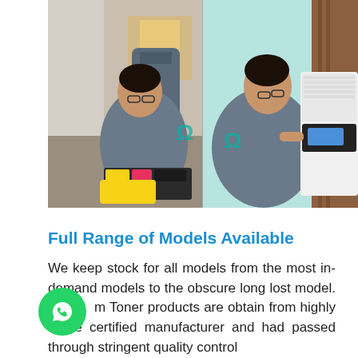[Figure (photo): Two technicians in grey polo shirts (with teal logo on back) servicing printers: left technician kneeling on floor with toner cartridges and tools on yellow case, right technician standing and operating a white multifunction printer/copier.]
Full Range of Models Available
We keep stock for all models from the most in-demand models to the obscure long lost model. [Our] m Toner products are obtain from highly [reputa]ble certified manufacturer and had passed through stringent quality control